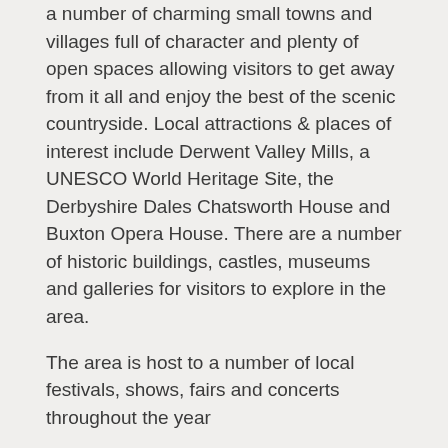a number of charming small towns and villages full of character and plenty of open spaces allowing visitors to get away from it all and enjoy the best of the scenic countryside. Local attractions & places of interest include Derwent Valley Mills, a UNESCO World Heritage Site, the Derbyshire Dales Chatsworth House and Buxton Opera House. There are a number of historic buildings, castles, museums and galleries for visitors to explore in the area.
The area is host to a number of local festivals, shows, fairs and concerts throughout the year
Peak District Quick Facts
Population: 38,000
Region: Central England
Area total: 1,438 sq km